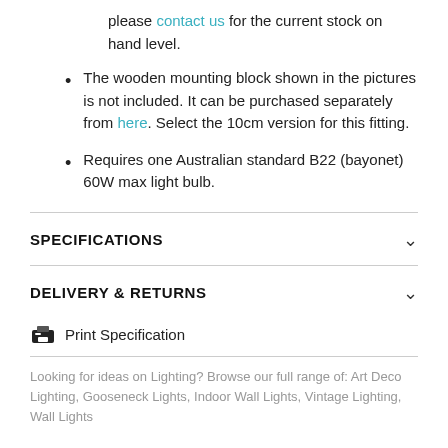please contact us for the current stock on hand level.
The wooden mounting block shown in the pictures is not included. It can be purchased separately from here. Select the 10cm version for this fitting.
Requires one Australian standard B22 (bayonet) 60W max light bulb.
SPECIFICATIONS
DELIVERY & RETURNS
Print Specification
Looking for ideas on Lighting? Browse our full range of: Art Deco Lighting, Gooseneck Lights, Indoor Wall Lights, Vintage Lighting, Wall Lights